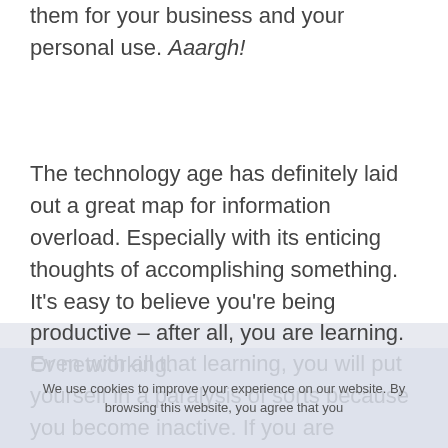them for your business and your personal use. Aaargh!
The technology age has definitely laid out a great map for information overload. Especially with its enticing thoughts of accomplishing something. It's easy to believe you're being productive – after all, you are learning. Or networking.
Even with all that learning, you will put yourself in a paralysis of sorts because you become inactive. If you are constantly learning new things without taking action and